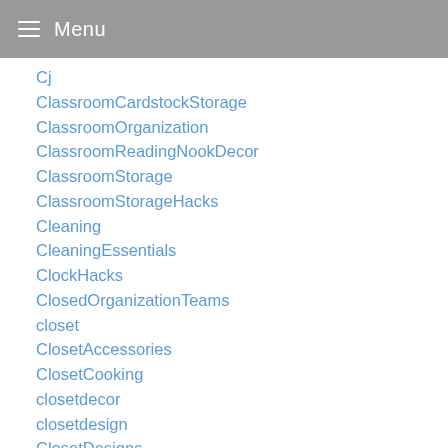Menu
Cj
ClassroomCardstockStorage
ClassroomOrganization
ClassroomReadingNookDecor
ClassroomStorage
ClassroomStorageHacks
Cleaning
CleaningEssentials
ClockHacks
ClosedOrganizationTeams
closet
ClosetAccessories
ClosetCooking
closetdecor
closetdesign
ClosetDesigns
ClosetDoorOrganizerAmazon